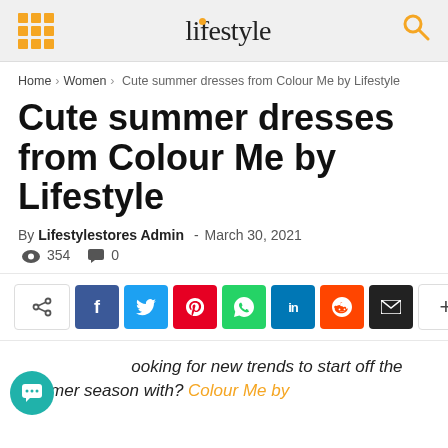lifestyle
Home › Women › Cute summer dresses from Colour Me by Lifestyle
Cute summer dresses from Colour Me by Lifestyle
By Lifestylestores Admin - March 30, 2021  354  0
[Figure (infographic): Social share bar with buttons for Facebook, Twitter, Pinterest, WhatsApp, LinkedIn, Reddit, Email, and more]
ooking for new trends to start off the summer season with? Colour Me by